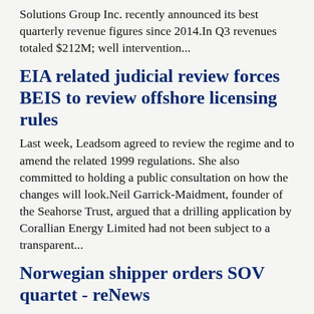Solutions Group Inc. recently announced its best quarterly revenue figures since 2014.In Q3 revenues totaled $212M; well intervention...
EIA related judicial review forces BEIS to review offshore licensing rules
Last week, Leadsom agreed to review the regime and to amend the related 1999 regulations. She also committed to holding a public consultation on how the changes will look.Neil Garrick-Maidment, founder of the Seahorse Trust, argued that a drilling application by Corallian Energy Limited had not been subject to a transparent...
Norwegian shipper orders SOV quartet - reNews
Norwegian company Ostensjo Rederi has signed a letter of intent for the construction of four commissioning service operation vessels (CSOVs) to meet demand for work in the offshore wind